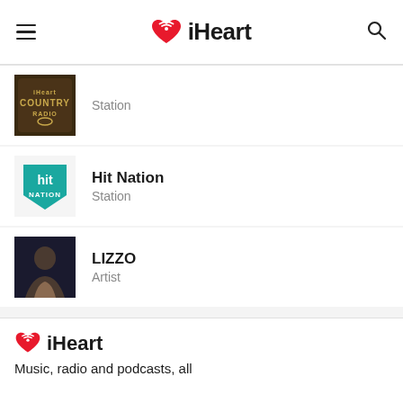iHeart — navigation bar with hamburger menu, iHeart logo, and search icon
Country Radio Station — Station
Hit Nation — Station
LIZZO — Artist
iHeart — Music, radio and podcasts, all